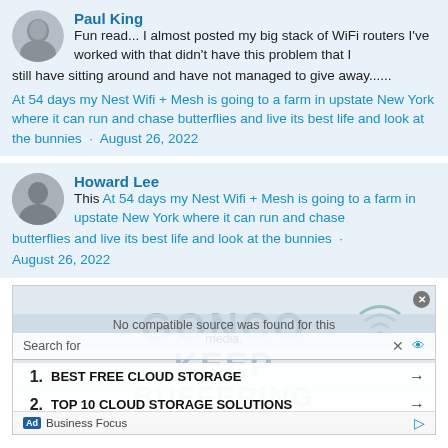[Figure (photo): Paul King profile avatar - grey-toned photo of a man]
Paul King
Fun read... I almost posted my big stack of WiFi routers I've worked with that didn't have this problem that I still have sitting around and have not managed to give away......
At 54 days my Nest Wifi + Mesh is going to a farm in upstate New York where it can run and chase butterflies and live its best life and look at the bunnies · August 26, 2022
[Figure (photo): Howard Lee profile avatar - generic grey silhouette]
Howard Lee
This At 54 days my Nest Wifi + Mesh is going to a farm in upstate New York where it can run and chase butterflies and live its best life and look at the bunnies · August 26, 2022
[Figure (screenshot): Ad overlay with GONCO KEEP BUFFERING watermark, No compatible source was found for this media message, search box, and two list items: 1. BEST FREE CLOUD STORAGE, 2. TOP 10 CLOUD STORAGE SOLUTIONS, Business Focus ad footer]